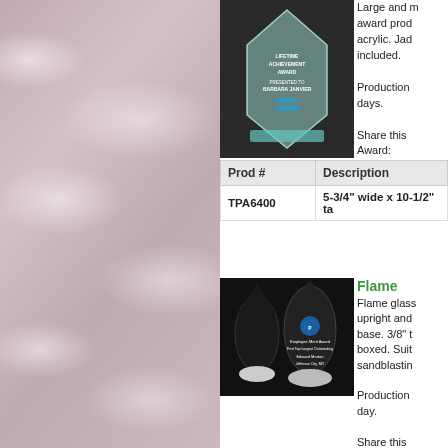[Figure (photo): Pink/grey marble texture background on the left panel]
[Figure (photo): Glass award product photo - diamond-shaped acrylic/glass award with First Union text, sitting on teal base]
Large and ... award prod... acrylic. Jad... included. Production... days. Share this Award:
| Prod # | Description |
| --- | --- |
| TPA6400 | 5-3/4" wide x 10-1/2" ta... |
[Figure (photo): Flame glass awards - two black flame-shaped glass awards on white bases]
Flame
Flame glass... upright and... base. 3/8" t... boxed. Suit... sandblastin... Production... day. Share this Award: